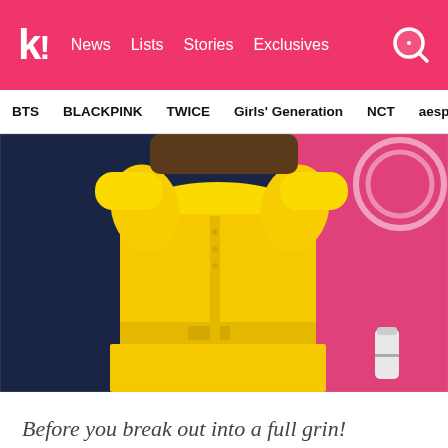k! News Lists Stories Exclusives
BTS BLACKPINK TWICE Girls' Generation NCT aespa
[Figure (photo): Person wearing a bright yellow long-sleeve belted dress/coat, photographed from neck to waist, hands raised near face, with a dark blue and pink background]
Before you break out into a full grin!